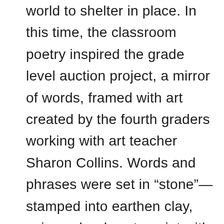world to shelter in place. In this time, the classroom poetry inspired the grade level auction project, a mirror of words, framed with art created by the fourth graders working with art teacher Sharon Collins. Words and phrases were set in “stone”— stamped into earthen clay, using solar dyes to paint with sunlight in a time of great uncertainty. The visual art piece was created to inspire self-reflection and hopes for a future where Nature and Humanity are in harmony, joined together as One. The community was invited to come to school for an Art Walk on Friday, April 13, the final day on site for the 2020 school year. The